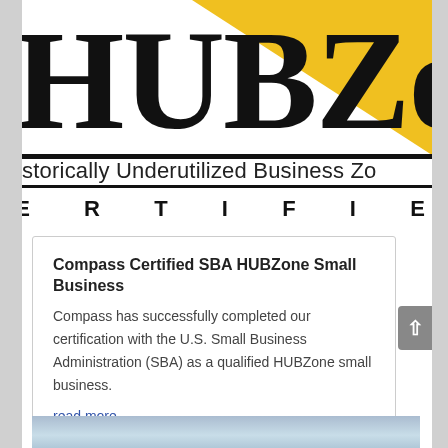[Figure (logo): HUBZone logo with large bold black letters 'HUBZone' on white background with a yellow diagonal shape in upper right. Below the logo text reads 'istorically Underutilized Business Zo' (cropped). A thick black horizontal rule separates the logo from the CERTIFIED text.]
CERTIFIE
Compass Certified SBA HUBZone Small Business
Compass has successfully completed our certification with the U.S. Small Business Administration (SBA) as a qualified HUBZone small business.
read more
[Figure (photo): Partial photo visible at bottom of page showing a waterscape or outdoor scene with blue-grey tones.]